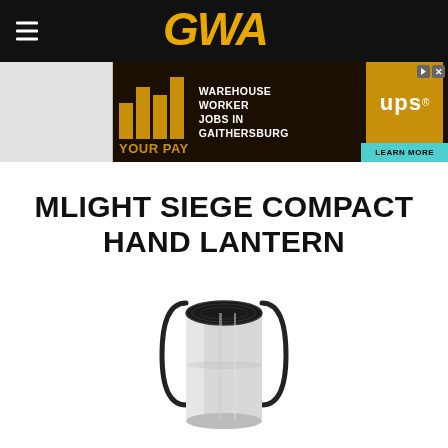GWA
[Figure (illustration): Advertisement banner: LIFT YOUR PAY - Warehouse Worker Jobs in Gaithersburg - UPS - Learn More]
MLIGHT SIEGE COMPACT HAND LANTERN
[Figure (photo): Product photo of the Mlight Siege Compact Hand Lantern - a cylindrical silver lantern with a black ribbed top cap and black metal carry handles on each side]